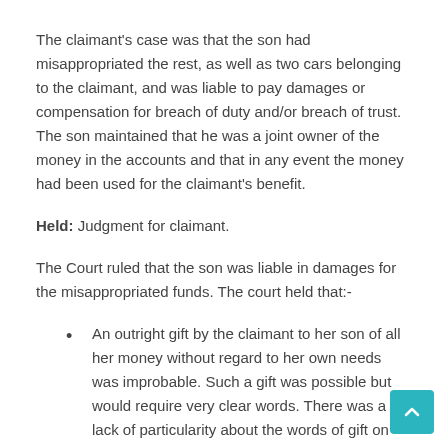The claimant's case was that the son had misappropriated the rest, as well as two cars belonging to the claimant, and was liable to pay damages or compensation for breach of duty and/or breach of trust. The son maintained that he was a joint owner of the money in the accounts and that in any event the money had been used for the claimant's benefit.
Held: Judgment for claimant.
The Court ruled that the son was liable in damages for the misappropriated funds. The court held that:-
An outright gift by the claimant to her son of all her money without regard to her own needs was improbable. Such a gift was possible but would require very clear words. There was a lack of particularity about the words of gift on which the son relied. He